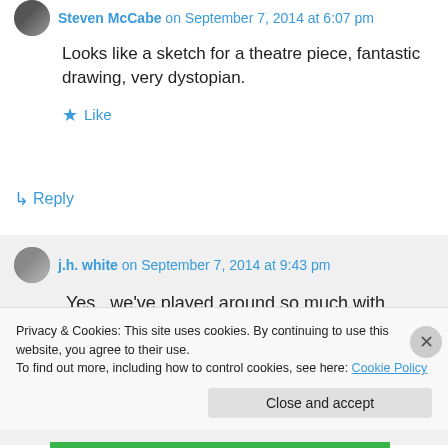Steven McCabe on September 7, 2014 at 6:07 pm
Looks like a sketch for a theatre piece, fantastic drawing, very dystopian.
★ Like
↳ Reply
j.h. white on September 7, 2014 at 9:43 pm
Yes...we've played around so much with dystopian images in movies that it is a
Privacy & Cookies: This site uses cookies. By continuing to use this website, you agree to their use. To find out more, including how to control cookies, see here: Cookie Policy
Close and accept